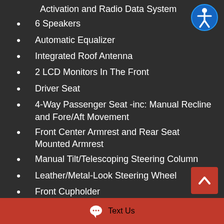Activation and Radio Data System
6 Speakers
Automatic Equalizer
Integrated Roof Antenna
2 LCD Monitors In The Front
Driver Seat
4-Way Passenger Seat -inc: Manual Recline and Fore/Aft Movement
Front Center Armrest and Rear Seat Mounted Armrest
Manual Tilt/Telescoping Steering Column
Leather/Metal-Look Steering Wheel
Front Cupholder
Rear Cupholder
Remote Releases -Inc: Power Fuel
Valet Function
HomeLink Garage Door Transmitter
Text Us